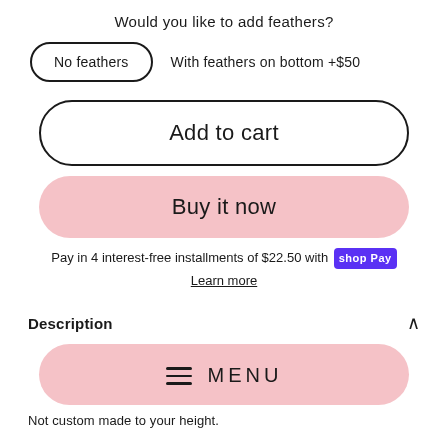Would you like to add feathers?
No feathers   With feathers on bottom +$50
Add to cart
Buy it now
Pay in 4 interest-free installments of $22.50 with Shop Pay
Learn more
Description
[Figure (screenshot): Pink MENU button bar with hamburger icon]
Not custom made to your height.